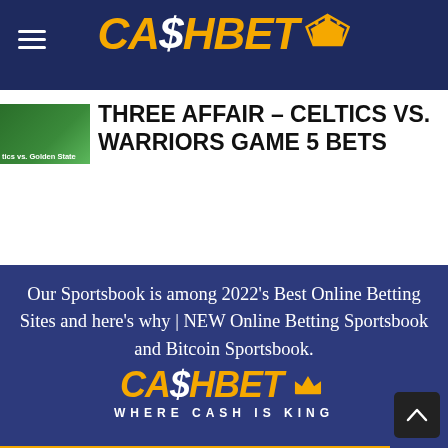CASHBET
[Figure (logo): CashBet logo with crown icon on dark navy header bar]
[Figure (photo): Thumbnail image of Celtics vs. Golden State basketball game]
THREE AFFAIR – CELTICS VS. WARRIORS GAME 5 BETS
Our Sportsbook is among 2022's Best Online Betting Sites and here's why | NEW Online Betting Sportsbook and Bitcoin Sportsbook.
[Figure (logo): CashBet logo with crown and tagline WHERE CASH IS KING on dark navy background]